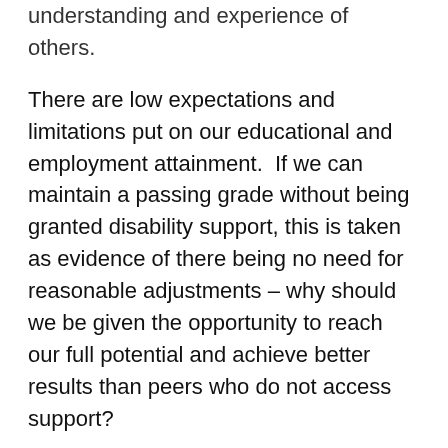understanding and experience of others.
There are low expectations and limitations put on our educational and employment attainment.  If we can maintain a passing grade without being granted disability support, this is taken as evidence of there being no need for reasonable adjustments – why should we be given the opportunity to reach our full potential and achieve better results than peers who do not access support?
If we are able to gain employment we should be grateful for the opportunity, and we can't expect to progress to higher roles with inflexible requirements and greater responsibilities.